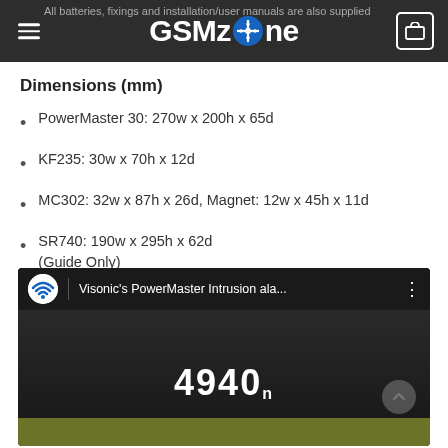GSMzone — All batteries, fixings and installation/user manuals are also supplied
Dimensions (mm)
PowerMaster 30: 270w x 200h x 65d
KF235: 30w x 70h x 12d
MC302: 32w x 87h x 26d, Magnet: 12w x 45h x 11d
SR740: 190w x 295h x 62d (Guide Only)
[Figure (screenshot): YouTube video thumbnail showing 'Visonic's PowerMaster Intrusion ala...' with a WiFi icon and the number 4940 visible on a dark background with a yellow-green bar at the bottom.]